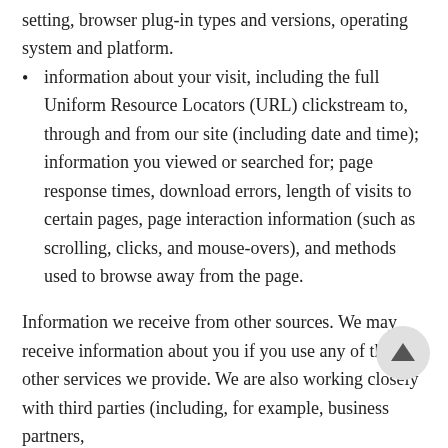setting, browser plug-in types and versions, operating system and platform.
information about your visit, including the full Uniform Resource Locators (URL) clickstream to, through and from our site (including date and time); information you viewed or searched for; page response times, download errors, length of visits to certain pages, page interaction information (such as scrolling, clicks, and mouse-overs), and methods used to browse away from the page.
Information we receive from other sources. We may receive information about you if you use any of the other services we provide. We are also working closely with third parties (including, for example, business partners,
[Figure (other): Back-to-top navigation button: a circular grey button with an upward-pointing arrow icon.]